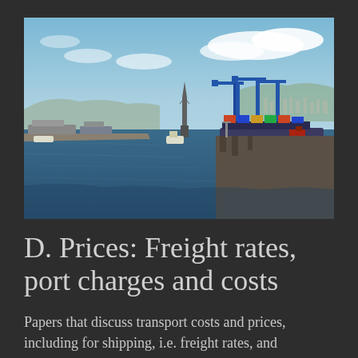[Figure (photo): Aerial/elevated photograph of a busy commercial port showing cargo ships, container cranes (painted blue), tugboats, and a wide harbor waterway under a partly cloudy blue sky. Hills and city visible in background on the right.]
D. Prices: Freight rates, port charges and costs
Papers that discuss transport costs and prices, including for shipping, i.e. freight rates, and